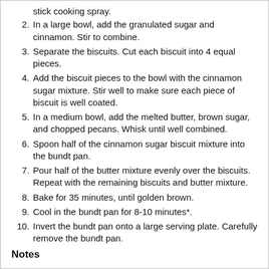stick cooking spray.
2. In a large bowl, add the granulated sugar and cinnamon. Stir to combine.
3. Separate the biscuits. Cut each biscuit into 4 equal pieces.
4. Add the biscuit pieces to the bowl with the cinnamon sugar mixture. Stir well to make sure each piece of biscuit is well coated.
5. In a medium bowl, add the melted butter, brown sugar, and chopped pecans. Whisk until well combined.
6. Spoon half of the cinnamon sugar biscuit mixture into the bundt pan.
7. Pour half of the butter mixture evenly over the biscuits. Repeat with the remaining biscuits and butter mixture.
8. Bake for 35 minutes, until golden brown.
9. Cool in the bundt pan for 8-10 minutes*.
10. Invert the bundt pan onto a large serving plate. Carefully remove the bundt pan.
Notes